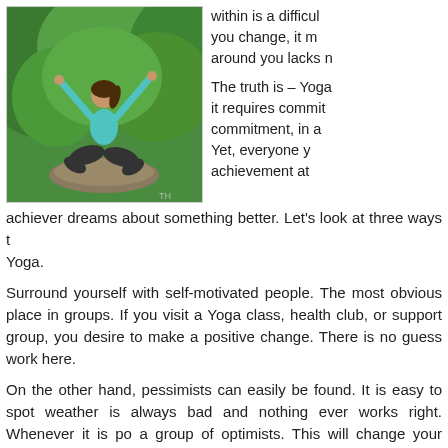[Figure (photo): Woman in yoga pose with arms raised, sitting on a rock outdoors surrounded by green forest/trees, wearing teal top and dark pants]
within is a difficult you change, it m around you lacks m

The truth is – Yoga it requires commit commitment, in a Yet, everyone y achievement at achiever dreams about something better. Let's look at three ways t Yoga.
Surround yourself with self-motivated people. The most obvious place in groups. If you visit a Yoga class, health club, or support group, you desire to make a positive change. There is no guess work here.
On the other hand, pessimists can easily be found. It is easy to spot weather is always bad and nothing ever works right. Whenever it is po a group of optimists. This will change your attitude and life dramatically
Permanently adjust your perspective. Look at the happy side of every a cynical viewpoint. Enjoy your life by living a Yogic lifestyle. Proper praying, and sleeping, can be altered much like a prescription.
After awhile, you may feel like you need a vacation from living a hea